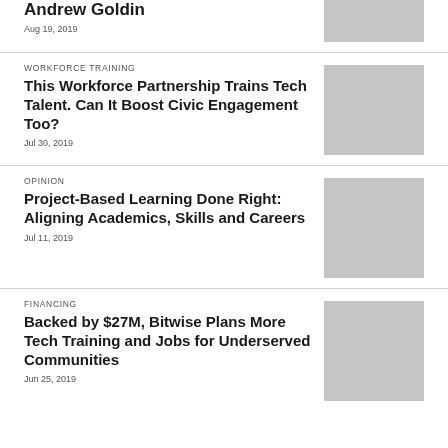Andrew Goldin
Aug 19, 2019
WORKFORCE TRAINING
This Workforce Partnership Trains Tech Talent. Can It Boost Civic Engagement Too?
Jul 30, 2019
OPINION
Project-Based Learning Done Right: Aligning Academics, Skills and Careers
Jul 11, 2019
FINANCING
Backed by $27M, Bitwise Plans More Tech Training and Jobs for Underserved Communities
Jun 25, 2019